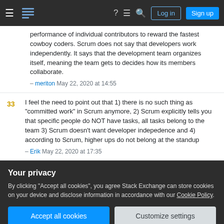Stack Exchange navigation bar with Log in and Sign up buttons
performance of individual contributors to reward the fastest cowboy coders. Scrum does not say that developers work independently. It says that the development team organizes itself, meaning the team gets to decides how its members collaborate.
– meriton May 22, 2020 at 14:55
33 I feel the need to point out that 1) there is no such thing as "committed work" in Scrum anymore, 2) Scrum explicitly tells you that specific people do NOT have tasks, all tasks belong to the team 3) Scrum doesn't want developer indepedence and 4) according to Scrum, higher ups do not belong at the standup
– Erik May 22, 2020 at 17:35
Your privacy
By clicking "Accept all cookies", you agree Stack Exchange can store cookies on your device and disclose information in accordance with our Cookie Policy.
Accept all cookies   Customize settings